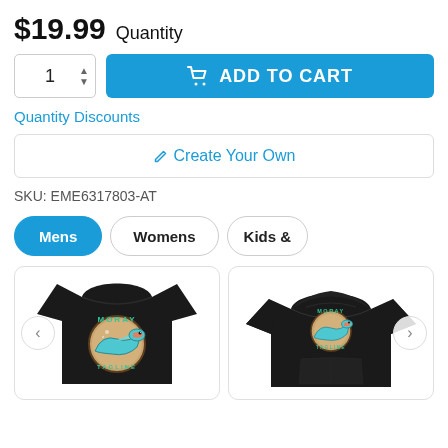$19.99 Quantity
1 (quantity spinner) ADD TO CART
Quantity Discounts
✏ Create Your Own
SKU: EME6317803-AT
Mens | Womens | Kids &
[Figure (photo): Black t-shirt with Moray eel colorful circular logo graphic and text MORAY and TAGLINE]
[Figure (photo): Black hoodie with Moray eel colorful circular logo graphic and text MORAY and TAGLINE]